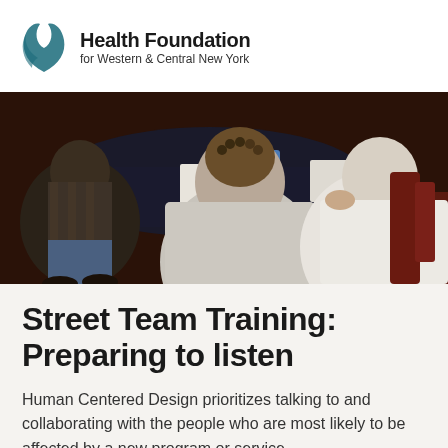Health Foundation for Western & Central New York
[Figure (photo): People sitting around a dark-draped table at a training session, viewed from above/behind, engaged in discussion or note-taking.]
Street Team Training: Preparing to listen
Human Centered Design prioritizes talking to and collaborating with the people who are most likely to be affected by a new program or service